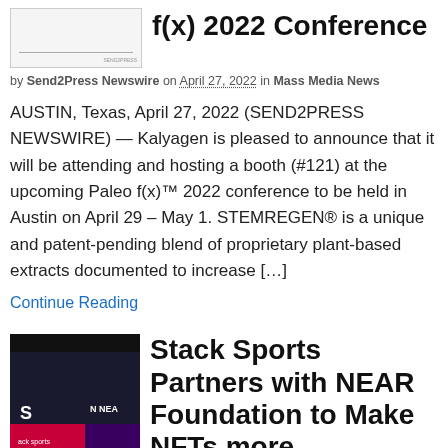[Figure (photo): Thumbnail image placeholder for article about Paleo f(x) 2022 Conference]
f(x) 2022 Conference
by Send2Press Newswire on April 27, 2022 in Mass Media News
AUSTIN, Texas, April 27, 2022 (SEND2PRESS NEWSWIRE) — Kalyagen is pleased to announce that it will be attending and hosting a booth (#121) at the upcoming Paleo f(x)™ 2022 conference to be held in Austin on April 29 – May 1. STEMREGEN® is a unique and patent-pending blend of proprietary plant-based extracts documented to increase […]
Continue Reading
[Figure (photo): Thumbnail image showing Stack Sports and NEAR logos side by side on a dark background]
Stack Sports Partners with NEAR Foundation to Make NFTs more